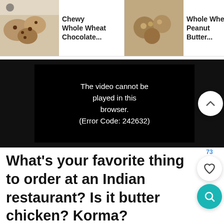[Figure (screenshot): Recipe bar showing three recipe thumbnails: Chewy Whole Wheat Chocolate..., Whole Wheat Peanut Butter..., Fluffy Wh... Pancakes with search icon overlay]
[Figure (screenshot): Black video player area showing error message: The video cannot be played in this browser. (Error Code: 242632). A white circular scroll-up arrow button on the right.]
What's your favorite thing to order at an Indian restaurant? Is it butter chicken? Korma? Biryani? Tandoori? Naan?
Naan is definitely my kryptonite. I can't get enough of the nutty, chewy,